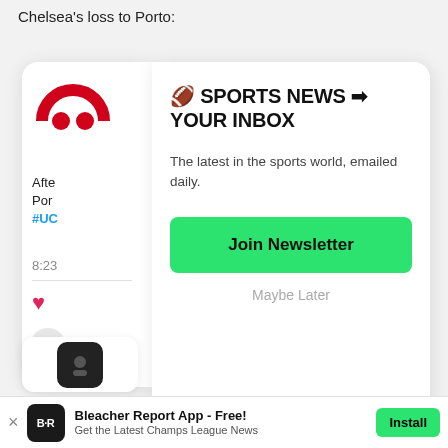Chelsea's loss to Porto:
[Figure (screenshot): Partially visible tweet with Bleacher Report logo (red circle icon), truncated tweet text 'Afte... Por... #UC...', timestamp '8:23', heart icon, and circle avatar]
🏈 SPORTS NEWS ➡ YOUR INBOX
The latest in the sports world, emailed daily.
Join Newsletter
Maybe Later
[Figure (screenshot): Partially visible bottom card with dark icon]
Bleacher Report App - Free! Get the Latest Champs League News  Install